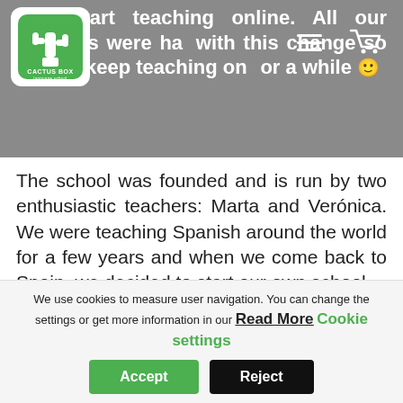...to start teaching online. All our students were happy with this change so we will keep teaching online for a while 🙂
[Figure (logo): Cactus Box language school logo — white cactus on green background with 'CACTUS BOX' text]
The school was founded and is run by two enthusiastic teachers: Marta and Verónica. We were teaching Spanish around the world for a few years and when we come back to Spain, we decided to start our own school.
It is a small local business. We work with small groups because we like to get to know all our students and design personalized lessons.
We use cookies to measure user navigation. You can change the settings or get more information in our Read More Cookie settings
Accept   Reject